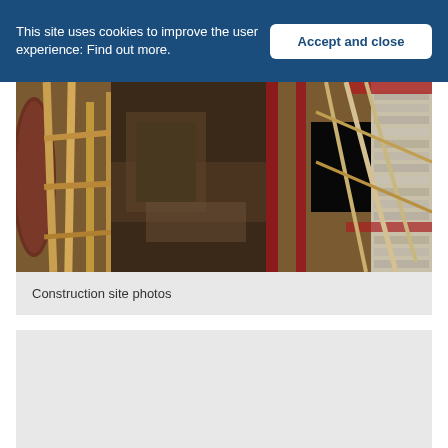This site uses cookies to improve the user experience: Find out more.
Accept and close
[Figure (photo): Construction site interior showing wooden scaffolding, metal beams, old brick walls, and building materials including plywood panels and insulation. The photo shows a building under renovation with exposed structural elements.]
Construction site photos
[Figure (photo): Second construction site photo, partially visible at bottom of page, showing a light gray/beige background.]